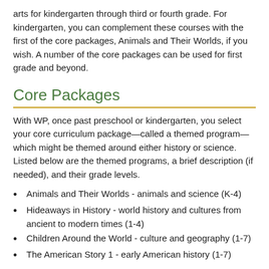arts for kindergarten through third or fourth grade. For kindergarten, you can complement these courses with the first of the core packages, Animals and Their Worlds, if you wish. A number of the core packages can be used for first grade and beyond.
Core Packages
With WP, once past preschool or kindergarten, you select your core curriculum package—called a themed program—which might be themed around either history or science. Listed below are the themed programs, a brief description (if needed), and their grade levels.
Animals and Their Worlds - animals and science (K-4)
Hideaways in History - world history and cultures from ancient to modern times (1-4)
Children Around the World - culture and geography (1-7)
The American Story 1 - early American history (1-7)